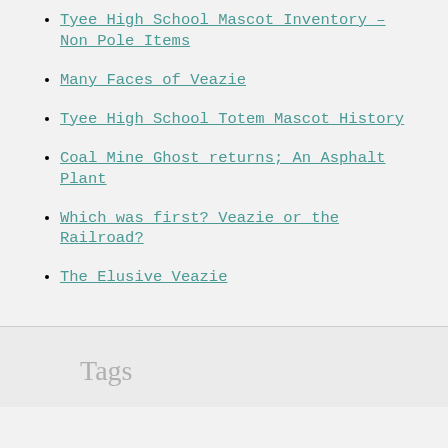Tyee High School Mascot Inventory – Non Pole Items
Many Faces of Veazie
Tyee High School Totem Mascot History
Coal Mine Ghost returns; An Asphalt Plant
Which was first? Veazie or the Railroad?
The Elusive Veazie
Tags